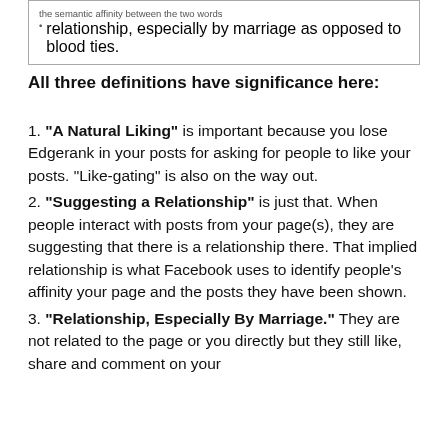the semantic affinity between the two words
• relationship, especially by marriage as opposed to blood ties.
All three definitions have significance here:
1. "A Natural Liking" is important because you lose Edgerank in your posts for asking for people to like your posts. "Like-gating" is also on the way out.
2. "Suggesting a Relationship" is just that. When people interact with posts from your page(s), they are suggesting that there is a relationship there. That implied relationship is what Facebook uses to identify people's affinity your page and the posts they have been shown.
3. "Relationship, Especially By Marriage." They are not related to the page or you directly but they still like, share and comment on your content. This means they are not as connected and